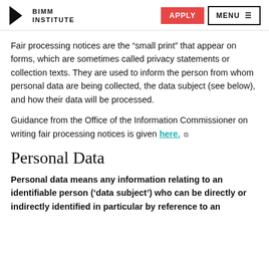BIMM INSTITUTE | APPLY | MENU
Fair processing notices are the “small print” that appear on forms, which are sometimes called privacy statements or collection texts. They are used to inform the person from whom personal data are being collected, the data subject (see below), and how their data will be processed.
Guidance from the Office of the Information Commissioner on writing fair processing notices is given here.
Personal Data
Personal data means any information relating to an identifiable person (‘data subject’) who can be directly or indirectly identified in particular by reference to an